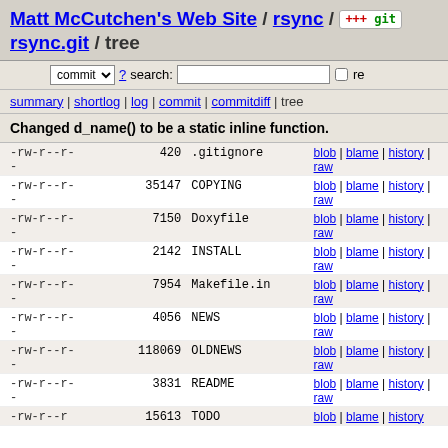Matt McCutchen's Web Site / rsync / rsync.git / tree
commit ? search: re
summary | shortlog | log | commit | commitdiff | tree
Changed d_name() to be a static inline function.
| permissions | size | filename | actions |
| --- | --- | --- | --- |
| -rw-r--r-- | 420 | .gitignore | blob | blame | history | raw |
| -rw-r--r-- | 35147 | COPYING | blob | blame | history | raw |
| -rw-r--r-- | 7150 | Doxyfile | blob | blame | history | raw |
| -rw-r--r-- | 2142 | INSTALL | blob | blame | history | raw |
| -rw-r--r-- | 7954 | Makefile.in | blob | blame | history | raw |
| -rw-r--r-- | 4056 | NEWS | blob | blame | history | raw |
| -rw-r--r-- | 118069 | OLDNEWS | blob | blame | history | raw |
| -rw-r--r-- | 3831 | README | blob | blame | history | raw |
| -rw-r--r | 15613 | TODO | blob | blame | history |